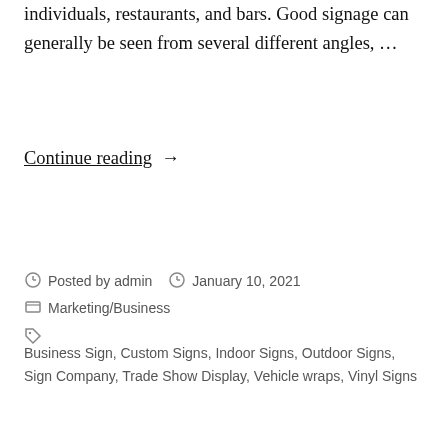individuals, restaurants, and bars. Good signage can generally be seen from several different angles, …
Continue reading →
Posted by admin   January 10, 2021
Marketing/Business
Business Sign, Custom Signs, Indoor Signs, Outdoor Signs, Sign Company, Trade Show Display, Vehicle wraps, Vinyl Signs